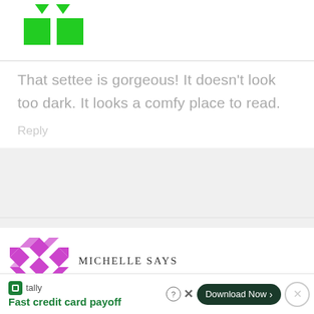[Figure (illustration): Two green downward arrows above two green squares, representing a user avatar/icon]
That settee is gorgeous! It doesn't look too dark. It looks a comfy place to read.
Reply
[Figure (illustration): Purple geometric mosaic pattern avatar for user Michelle]
MICHELLE SAYS
August 8, 2017 at 4:26 AM
[Figure (infographic): Tally app advertisement bar: Fast credit card payoff, Download Now button]